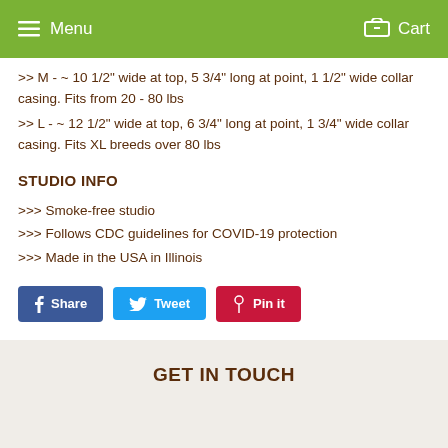Menu  Cart
>> M - ~ 10 1/2" wide at top, 5 3/4" long at point, 1 1/2" wide collar casing. Fits from 20 - 80 lbs
>> L - ~ 12 1/2" wide at top, 6 3/4" long at point, 1 3/4" wide collar casing. Fits XL breeds over 80 lbs
STUDIO INFO
>>> Smoke-free studio
>>> Follows CDC guidelines for COVID-19 protection
>>> Made in the USA in Illinois
Share  Tweet  Pin it
GET IN TOUCH